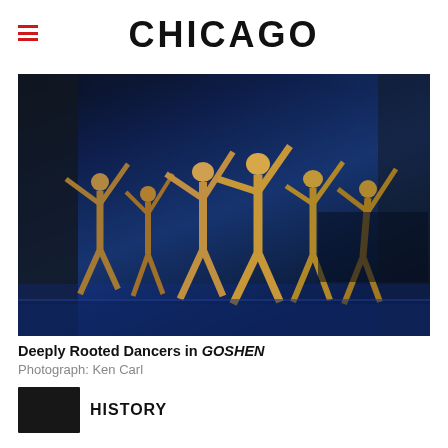CHICAGO
[Figure (photo): Dance performance photo: Deeply Rooted Dancers performing on stage in dramatic blue lighting, dancers in earthy costumes with arms extended upward]
Deeply Rooted Dancers in GOSHEN
Photograph: Ken Carl
[Figure (photo): Small thumbnail image, partially visible at bottom of page, dark tones with HISTORY label]